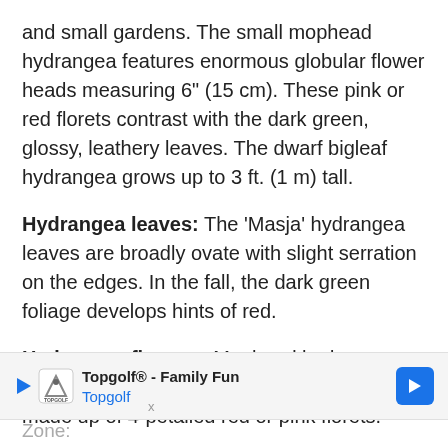and small gardens. The small mophead hydrangea features enormous globular flower heads measuring 6" (15 cm). These pink or red florets contrast with the dark green, glossy, leathery leaves. The dwarf bigleaf hydrangea grows up to 3 ft. (1 m) tall.
Hydrangea leaves: The 'Masja' hydrangea leaves are broadly ovate with slight serration on the edges. In the fall, the dark green foliage develops hints of red.
Hydrangea flowers: Mophead hydrangea 'Masja' flowers are large domed flower heads made up of 4-petalled red or pink florets.
Zone: